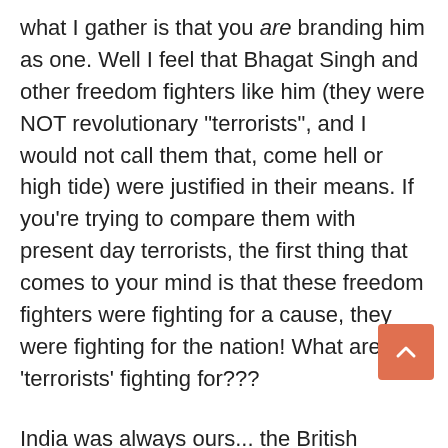what I gather is that you are branding him as one. Well I feel that Bhagat Singh and other freedom fighters like him (they were NOT revolutionary "terrorists", and I would not call them that, come hell or high tide) were justified in their means. If you're trying to compare them with present day terrorists, the first thing that comes to your mind is that these freedom fighters were fighting for a cause, they were fighting for the nation! What are the 'terrorists' fighting for???
India was always ours... the British entered here from a foreign territory, a completely different world, with the only aim to colonise(at least later) the place for their own needs(basically economical needs). What do these 'terrorists'